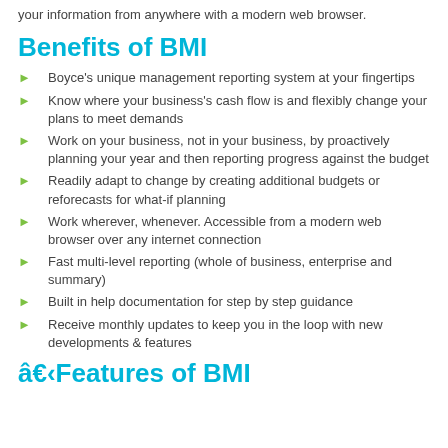your information from anywhere with a modern web browser.
Benefits of BMI
Boyce's unique management reporting system at your fingertips
Know where your business's cash flow is and flexibly change your plans to meet demands
Work on your business, not in your business, by proactively planning your year and then reporting progress against the budget
Readily adapt to change by creating additional budgets or reforecasts for what-if planning
Work wherever, whenever. Accessible from a modern web browser over any internet connection
Fast multi-level reporting (whole of business, enterprise and summary)
Built in help documentation for step by step guidance
Receive monthly updates to keep you in the loop with new developments & features
â€‹Features of BMI